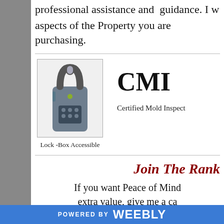professional assistance and guidance. I w aspects of the Property you are purchasing.
[Figure (photo): A gray electronic lock box / key safe device shown upright]
Lock -Box Accessible
CMI
Certified Mold Inspect
Join The Rank
If you want Peace of Mind extra value, give me a ca
phis_llc@yahoo.com
POWERED BY weebly